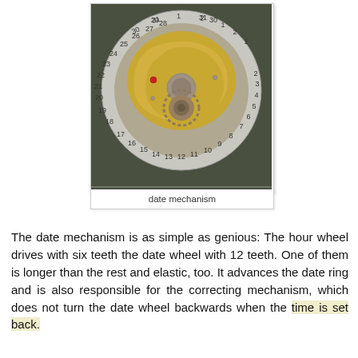[Figure (photo): Close-up photograph of a watch date mechanism showing a circular date wheel/ring with numbers 13-31 and 1-12 arranged around the perimeter, with gold-colored movement components including gears and wheels visible in the center.]
date mechanism
The date mechanism is as simple as genious: The hour wheel drives with six teeth the date wheel with 12 teeth. One of them is longer than the rest and elastic, too. It advances the date ring and is also responsible for the correcting mechanism, which does not turn the date wheel backwards when the time is set back.